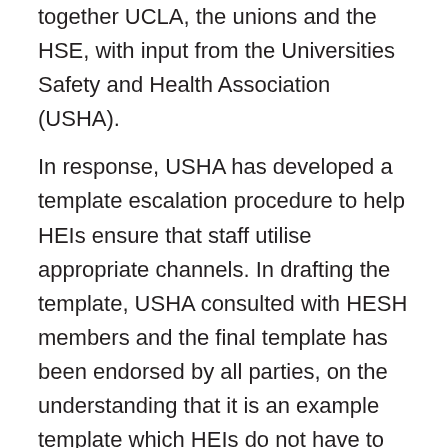together UCLA, the unions and the HSE, with input from the Universities Safety and Health Association (USHA).
In response, USHA has developed a template escalation procedure to help HEIs ensure that staff utilise appropriate channels. In drafting the template, USHA consulted with HESH members and the final template has been endorsed by all parties, on the understanding that it is an example template which HEIs do not have to use if it does not suit them.
It is hoped that HEIs will find the optional template (below) useful for discussing arrangements with their staff and the